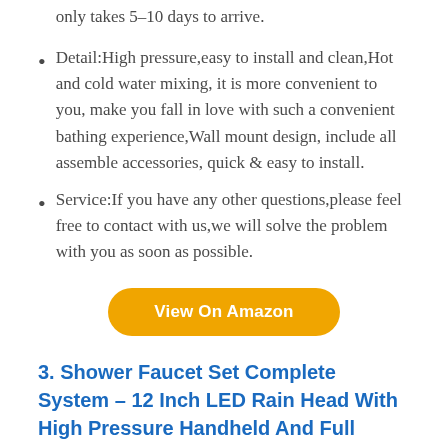only takes 5-10 days to arrive.
Detail:High pressure,easy to install and clean,Hot and cold water mixing, it is more convenient to you, make you fall in love with such a convenient bathing experience,Wall mount design, include all assemble accessories, quick & easy to install.
Service:If you have any other questions,please feel free to contact with us,we will solve the problem with you as soon as possible.
View On Amazon
3. Shower Faucet Set Complete System – 12 Inch LED Rain Head With High Pressure Handheld And Full Body Massage Spray Jets –